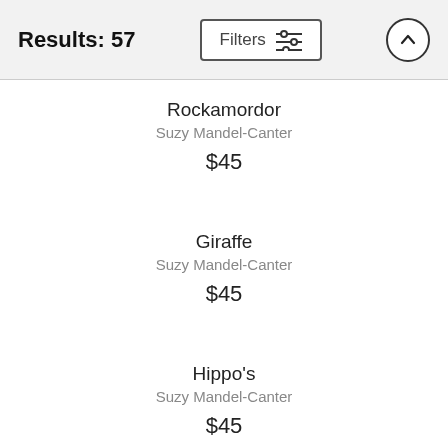Results: 57
Rockamordor
Suzy Mandel-Canter
$45
Giraffe
Suzy Mandel-Canter
$45
Hippo's
Suzy Mandel-Canter
$45